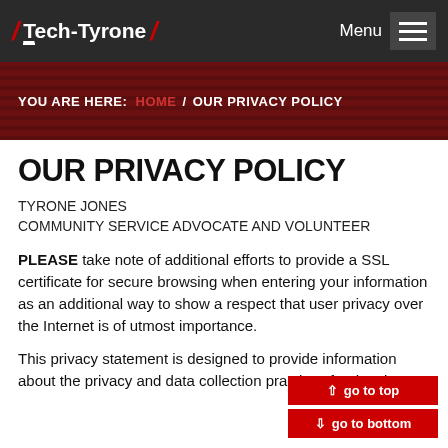Tech-Tyrone — Menu
YOU ARE HERE: HOME / OUR PRIVACY POLICY
OUR PRIVACY POLICY
TYRONE JONES
COMMUNITY SERVICE ADVOCATE AND VOLUNTEER
PLEASE take note of additional efforts to provide a SSL certificate for secure browsing when entering your information as an additional way to show a respect that user privacy over the Internet is of utmost importance.
This privacy statement is designed to provide information about the privacy and data collection practices for the sites: